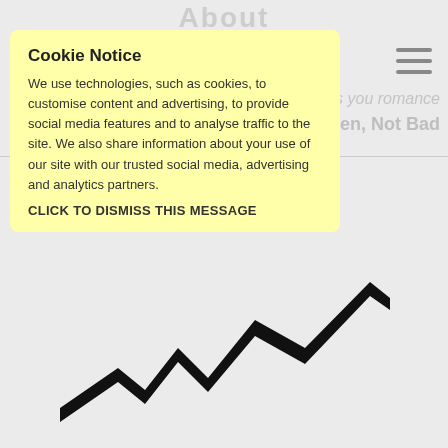About
…brings you romance
ood Men, Not Bad
Cookie Notice
We use technologies, such as cookies, to customise content and advertising, to provide social media features and to analyse traffic to the site. We also share information about your use of our site with our trusted social media, advertising and analytics partners.
CLICK TO DISMISS THIS MESSAGE
[Figure (line-chart): A zigzag upward-trending line chart icon rendered in black, no axes or labels visible, showing a stylized rising trend line with peaks and valleys.]